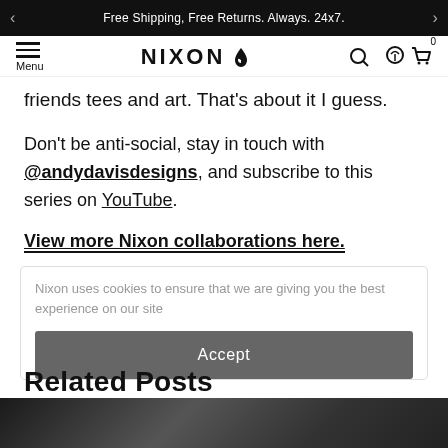Free Shipping, Free Returns. Always. 24x7.
[Figure (logo): Nixon brand logo with flame icon and navigation elements including hamburger menu, search icon, and cart with 0 badge]
friends tees and art. That's about it I guess.
Don't be anti-social, stay in touch with @andydavisdesigns, and subscribe to this series on YouTube.
View more Nixon collaborations here.
Nixon uses cookies to ensure that we are giving you the best experience on our site
Accept
Related Posts